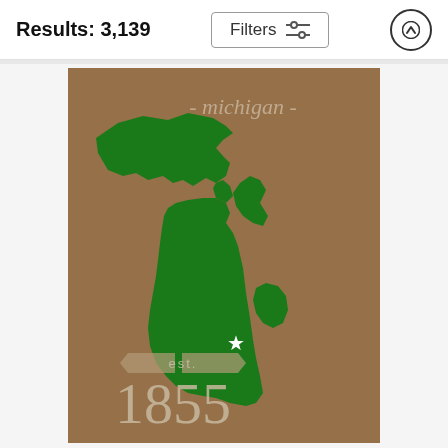Results: 3,139
[Figure (screenshot): Search results page UI with Filters button and up arrow button in header bar]
[Figure (illustration): Michigan state map illustration on kraft paper brown background with green state silhouette, italic 'michigan' text at top, star marker, and 'est. 1855' text at bottom left]